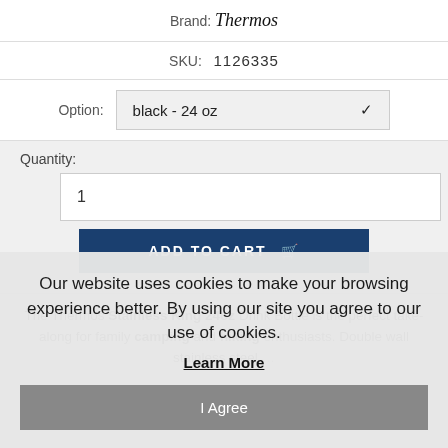Brand: Thermos
SKU: 1126335
Option: black - 24 oz
Quantity: 1
ADD TO CART
The Thermos Stainless King 24oz Drink Bottle is the perfect take-along for family camping and hiking enthusiasts. Double wall stainless steel
Our website uses cookies to make your browsing experience better. By using our site you agree to our use of cookies.
Learn More
I Agree